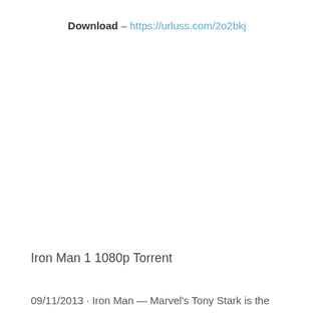Download – https://urluss.com/2o2bkj
Iron Man 1 1080p Torrent
09/11/2013 · Iron Man — Marvel's Tony Stark is the